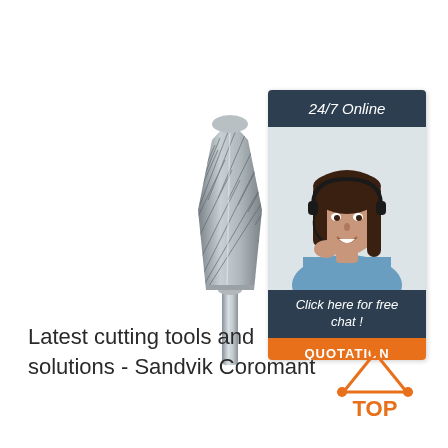[Figure (photo): A tungsten carbide rotary burr / die grinder bit with a tapered conical shape and diagonal fluted cutting edges, mounted on a cylindrical shank. The tool is metallic silver/grey.]
[Figure (infographic): Customer service banner: dark navy header with '24/7 Online' text, photo of smiling woman with headset, dark navy footer with italic text 'Click here for free chat !', and orange button labeled 'QUOTATION']
Latest cutting tools and solutions - Sandvik Coromant
[Figure (logo): Orange triangular 'TOP' logo with dots at the corners and the word TOP in orange text below]